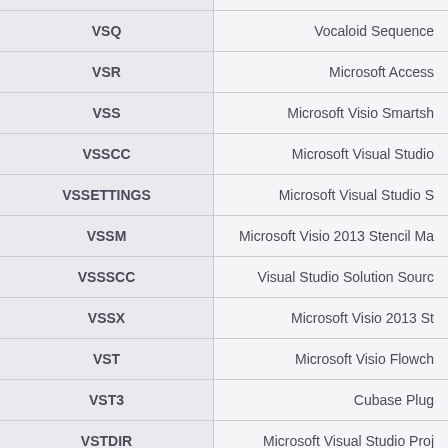| Extension | Description |
| --- | --- |
| VSQ | Vocaloid Sequence |
| VSR | Microsoft Access |
| VSS | Microsoft Visio Smartsh |
| VSSCC | Microsoft Visual Studio |
| VSSETTINGS | Microsoft Visual Studio S |
| VSSM | Microsoft Visio 2013 Stencil Ma |
| VSSSCC | Visual Studio Solution Sourc |
| VSSX | Microsoft Visio 2013 St |
| VST | Microsoft Visio Flowch |
| VST3 | Cubase Plug |
| VSTDIR | Microsoft Visual Studio Proj |
| VSTEMPLATE | Microsoft Visual Studio Pr |
| VSTM | Microsoft Visio 2013 Ma |